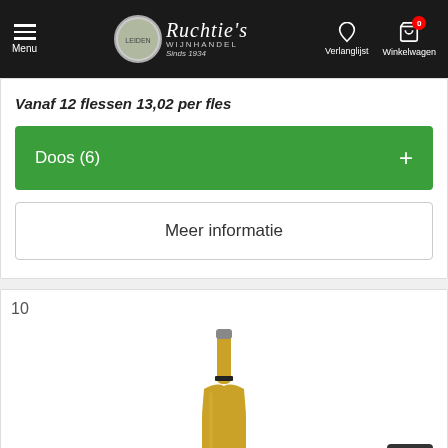Menu | Ruchtie's Wijnhandel Sinds 1934 | Verlanglijst | Winkelwagen 0
Vanaf 12 flessen 13,02 per fles
Doos (6) +
Meer informatie
10
[Figure (photo): Gold wine bottle with dark label, partial view, against white background]